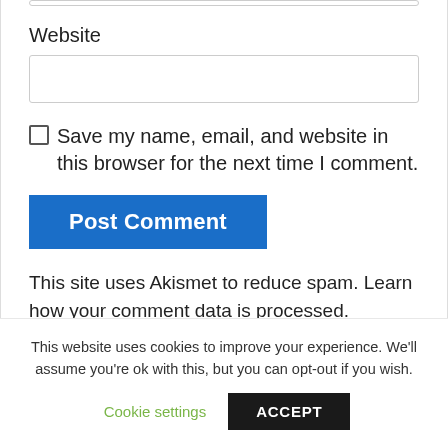Website
Save my name, email, and website in this browser for the next time I comment.
Post Comment
This site uses Akismet to reduce spam. Learn how your comment data is processed.
This website uses cookies to improve your experience. We'll assume you're ok with this, but you can opt-out if you wish.
Cookie settings
ACCEPT